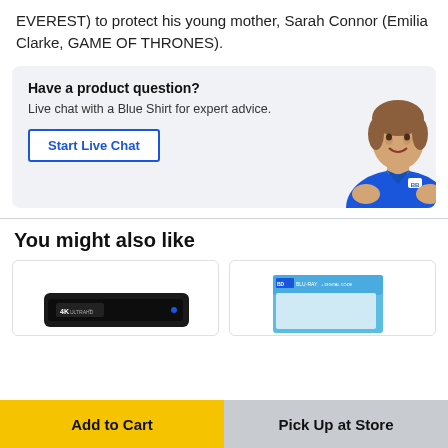EVEREST) to protect his young mother, Sarah Connor (Emilia Clarke, GAME OF THRONES).
[Figure (infographic): Best Buy live chat promotional box with a woman in a blue Best Buy shirt, a 'Have a product question?' heading, subtitle 'Live chat with a Blue Shirt for expert advice.', and a 'Start Live Chat' button.]
You might also like
[Figure (photo): 4K Ultra HD device product image thumbnail]
[Figure (photo): Blu-ray + Digital Code product box thumbnail]
Add to Cart
Pick Up at Store